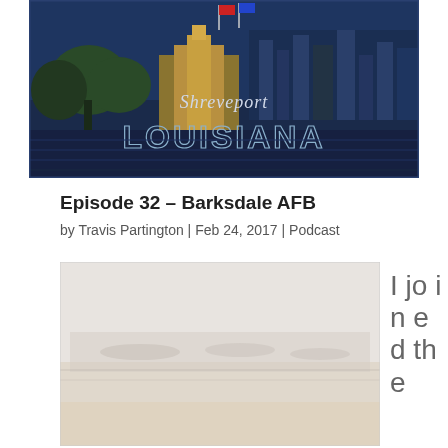[Figure (illustration): Vintage travel poster style image of Shreveport, Louisiana with skyline, buildings, trees, and water in dark blue and gold tones. Text reads 'Shreveport LOUISIANA' in large stylized lettering.]
Episode 32 – Barksdale AFB
by Travis Partington | Feb 24, 2017 | Podcast
[Figure (photo): A very light, washed-out photograph of what appears to be a military airfield or tarmac area with aircraft and structures barely visible in foggy/hazy conditions.]
I joined the